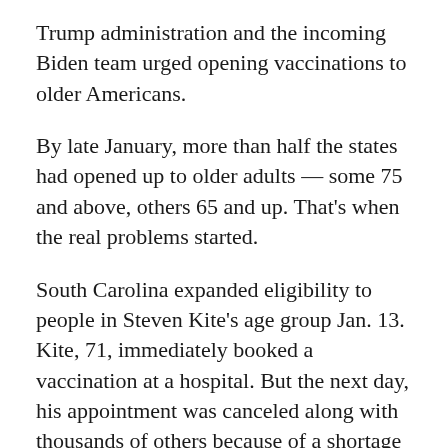Trump administration and the incoming Biden team urged opening vaccinations to older Americans.
By late January, more than half the states had opened up to older adults — some 75 and above, others 65 and up. That's when the real problems started.
South Carolina expanded eligibility to people in Steven Kite's age group Jan. 13. Kite, 71, immediately booked a vaccination at a hospital. But the next day, his appointment was canceled along with thousands of others because of a shortage of vaccine.
"It was frustrating at first," Kite said. After a week of uncertainty, he rescheduled. He and his wife are now vaccinated. "It ended up working out fine. I know they've had other problems. The delivery of the doses has been very unreliable."